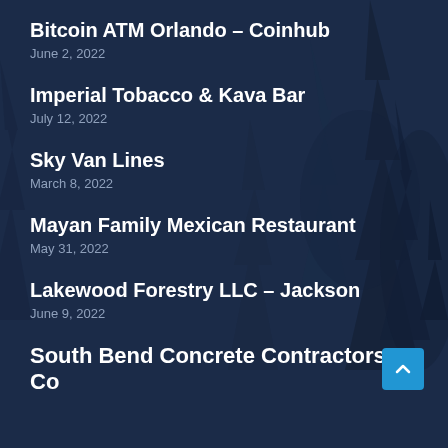[Figure (illustration): Dark blue night forest background with silhouettes of pine/fir trees]
Bitcoin ATM Orlando – Coinhub
June 2, 2022
Imperial Tobacco & Kava Bar
July 12, 2022
Sky Van Lines
March 8, 2022
Mayan Family Mexican Restaurant
May 31, 2022
Lakewood Forestry LLC – Jackson
June 9, 2022
South Bend Concrete Contractors Co